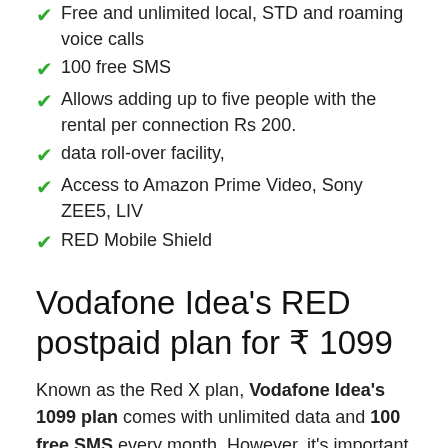Free and unlimited local, STD and roaming voice calls
100 free SMS
Allows adding up to five people with the rental per connection Rs 200.
data roll-over facility,
Access to Amazon Prime Video, Sony ZEE5, LIV
RED Mobile Shield
Vodafone Idea's RED postpaid plan for ₹ 1099
Known as the Red X plan, Vodafone Idea's 1099 plan comes with unlimited data and 100 free SMS every month. However, it's important to note that while this plan offers multiple benefits, it comes with a lock-in period that is valid for the first 6 months. So, if you decide to change your plan, move from postpaid to prepaid or change your